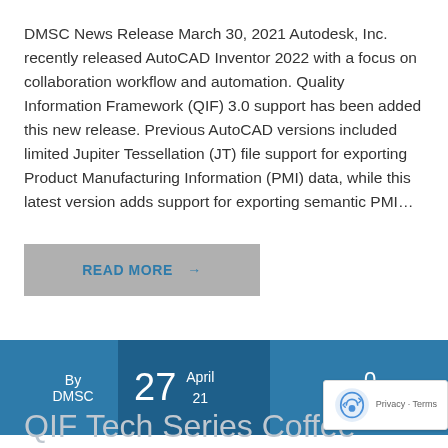DMSC News Release March 30, 2021 Autodesk, Inc. recently released AutoCAD Inventor 2022 with a focus on collaboration workflow and automation. Quality Information Framework (QIF) 3.0 support has been added this new release. Previous AutoCAD versions included limited Jupiter Tessellation (JT) file support for exporting Product Manufacturing Information (PMI) data, while this latest version adds support for exporting semantic PMI…
READ MORE →
By DMSC
27 April 21
0 comment
QIF Tech Series Coffee Chat